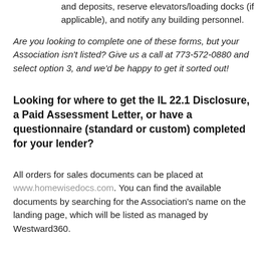and deposits, reserve elevators/loading docks (if applicable), and notify any building personnel.
Are you looking to complete one of these forms, but your Association isn't listed? Give us a call at 773-572-0880 and select option 3, and we'd be happy to get it sorted out!
Looking for where to get the IL 22.1 Disclosure, a Paid Assessment Letter, or have a questionnaire (standard or custom) completed for your lender?
All orders for sales documents can be placed at www.homewisedocs.com. You can find the available documents by searching for the Association's name on the landing page, which will be listed as managed by Westward360.